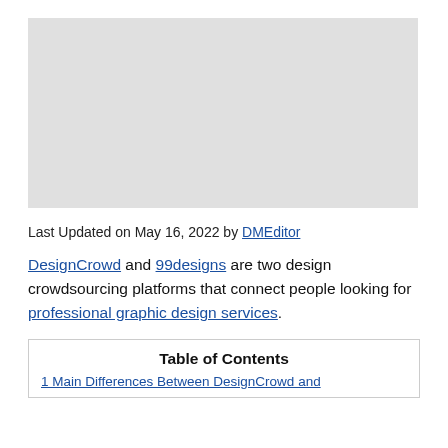[Figure (photo): Large light gray placeholder image at the top of the page]
Last Updated on May 16, 2022 by DMEditor
DesignCrowd and 99designs are two design crowdsourcing platforms that connect people looking for professional graphic design services.
| Table of Contents |
| --- |
| 1 Main Differences Between DesignCrowd and... |